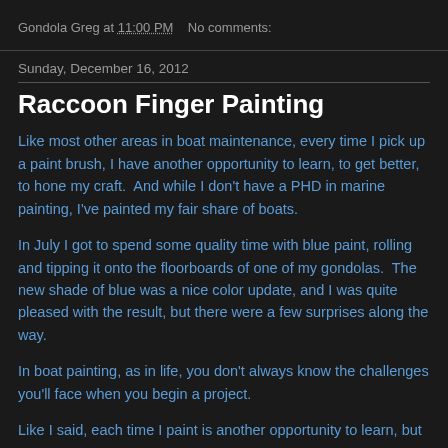Gondola Greg at 11:00 PM   No comments:
Sunday, December 16, 2012
Raccoon Finger Painting
Like most other areas in boat maintenance, every time I pick up a paint brush, I have another opportunity to learn, to get better, to hone my craft.  And while I don't have a PHD in marine painting, I've painted my fair share of boats.
In July I got to spend some quality time with blue paint, rolling and tipping it onto the floorboards of one of my gondolas.  The new shade of blue was a nice color update, and I was quite pleased with the result, but there were a few surprises along the way.
In boat painting, as in life, you don't always know the challenges you'll face when you begin a project.
Like I said, each time I paint is another opportunity to learn, but